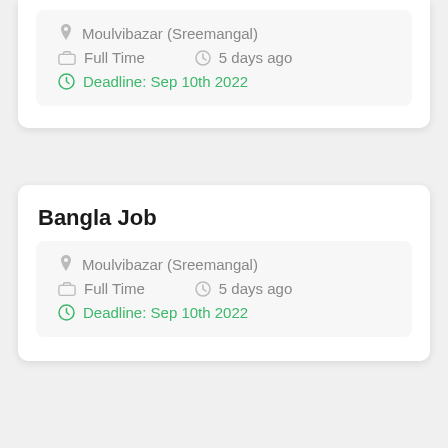Moulvibazar (Sreemangal) | Full Time | 5 days ago | Deadline: Sep 10th 2022
Bangla Job
Moulvibazar (Sreemangal) | Full Time | 5 days ago | Deadline: Sep 10th 2022